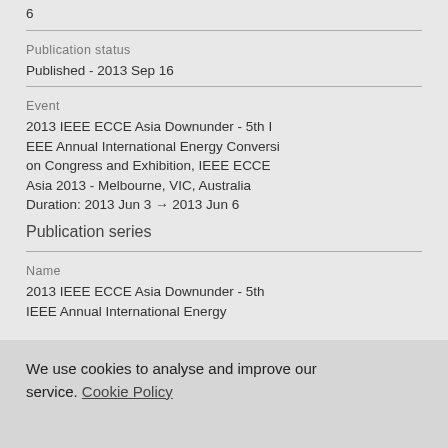6
Publication status
Published - 2013 Sep 16
Event
2013 IEEE ECCE Asia Downunder - 5th IEEE Annual International Energy Conversion Congress and Exhibition, IEEE ECCE Asia 2013 - Melbourne, VIC, Australia
Duration: 2013 Jun 3 → 2013 Jun 6
Publication series
Name
2013 IEEE ECCE Asia Downunder - 5th IEEE Annual International Energy
We use cookies to analyse and improve our service. Cookie Policy